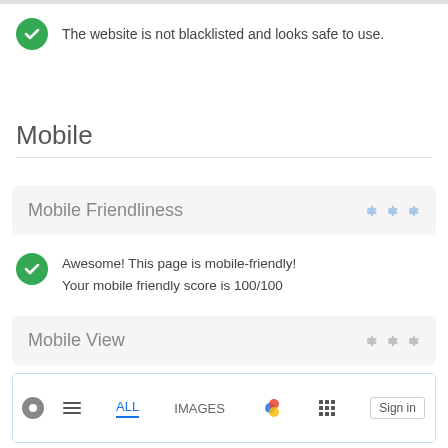The website is not blacklisted and looks safe to use.
Mobile
Mobile Friendliness
Awesome! This page is mobile-friendly! Your mobile friendly score is 100/100
Mobile View